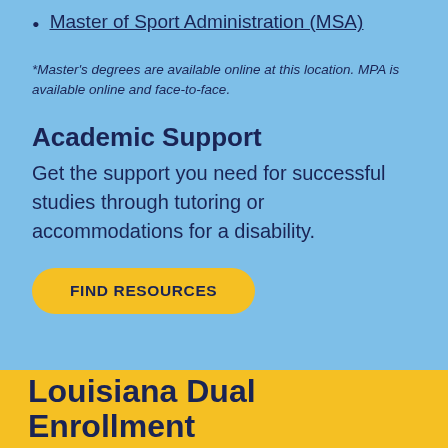Master of Sport Administration (MSA)
*Master's degrees are available online at this location. MPA is available online and face-to-face.
Academic Support
Get the support you need for successful studies through tutoring or accommodations for a disability.
FIND RESOURCES
Louisiana Dual Enrollment